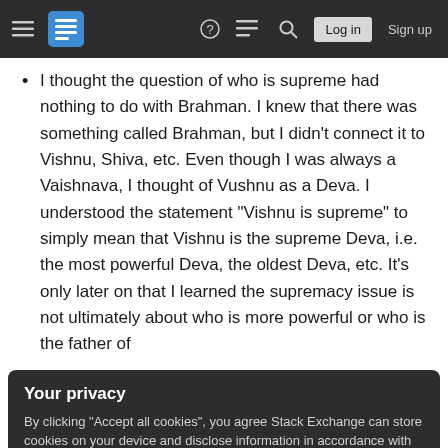Stack Exchange navigation bar with login and sign up buttons
I thought the question of who is supreme had nothing to do with Brahman. I knew that there was something called Brahman, but I didn't connect it to Vishnu, Shiva, etc. Even though I was always a Vaishnava, I thought of Vushnu as a Deva. I understood the statement "Vishnu is supreme" to simply mean that Vishnu is the supreme Deva, i.e. the most powerful Deva, the oldest Deva, etc. It's only later on that I learned the supremacy issue is not ultimately about who is more powerful or who is the father of
Your privacy
By clicking "Accept all cookies", you agree Stack Exchange can store cookies on your device and disclose information in accordance with our Cookie Policy.
Accept all cookies   Customize settings
these three entities, and that most other Hindus